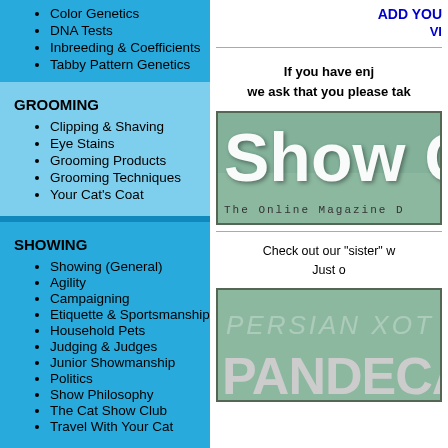Color Genetics
DNA Tests
Inbreeding & Coefficients
Tabby Pattern Genetics
GROOMING
Clipping & Shaving
Eye Stains
Grooming Products
Grooming Techniques
Your Cat's Coat
SHOWING
Showing (General)
Agility
Campaigning
Etiquette & Sportsmanship
Household Pets
Judging & Judges
Junior Showmanship
Politics
Show Philosophy
The Cat Show Club
Travel With Your Cat
ADD YOU
VI
If you have enj we ask that you please tak
[Figure (screenshot): Show Cat magazine banner - green background with large white bold text 'Show C' and subtitle 'The Online Magazine D']
Check out our "sister" w Just o
[Figure (screenshot): PandEca banner - green background with large grey/white bold text 'PandEca' and background italic text 'PERSIAN EXOT']